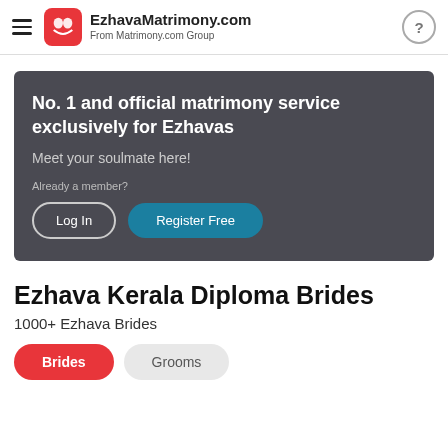EzhavaMatrimony.com From Matrimony.com Group
[Figure (infographic): Dark grey banner with white text: No. 1 and official matrimony service exclusively for Ezhavas. Meet your soulmate here! Already a member? Log In | Register Free buttons.]
Ezhava Kerala Diploma Brides
1000+ Ezhava Brides
Brides   Grooms